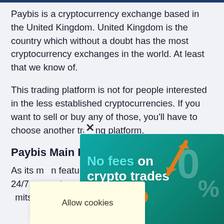Paybis is a cryptocurrency exchange based in the United Kingdom. United Kingdom is the country which without a doubt has the most cryptocurrency exchanges in the world. At least that we know of.
This trading platform is not for people interested in the less established cryptocurrencies. If you want to sell or buy any of those, you'll have to choose another trading platform.
Paybis Main Features
As its main features, Paybis promotes that it has 24/7 support, a wide range of deposit/withdrawal limits, instant payments, multiple payment methods, instant payments for orders as well. That it's…
[Figure (infographic): Advertisement banner: 'No fees on crypto trades' with Install Now button, orange arrows and 0% text on teal background]
[Figure (infographic): Cookie consent popup with 'Allow cookies' text on yellow background, with X close button]